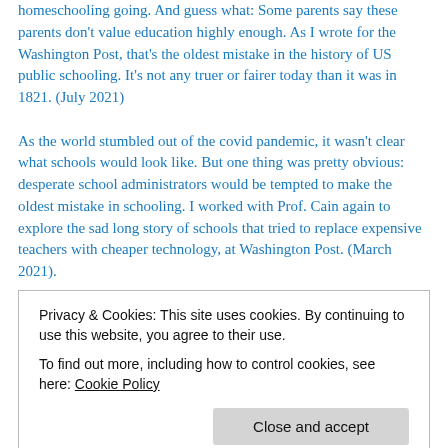homeschooling going. And guess what: Some parents say these parents don't value education highly enough. As I wrote for the Washington Post, that's the oldest mistake in the history of US public schooling. It's not any truer or fairer today than it was in 1821. (July 2021)
As the world stumbled out of the covid pandemic, it wasn't clear what schools would look like. But one thing was pretty obvious: desperate school administrators would be tempted to make the oldest mistake in schooling. I worked with Prof. Cain again to explore the sad long story of schools that tried to replace expensive teachers with cheaper technology, at Washington Post. (March 2021).
The covid pandemic is leading to an unprecedented crisis in education…right? Well, there IS a ton of precedent. I teamed up with the brilliant historian Victoria Cain to look at the history of over-hyped tech
Privacy & Cookies: This site uses cookies. By continuing to use this website, you agree to their use.
To find out more, including how to control cookies, see here: Cookie Policy
it happen, I take on the myth of the 'eternal monkey trial.' It might seem like a long-shot, but historically speaking, that's the most likely